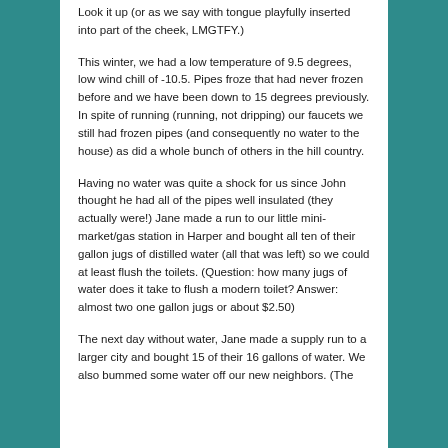Look it up (or as we say with tongue playfully inserted into part of the cheek,  LMGTFY.)
This winter, we had a low temperature of 9.5 degrees, low wind chill of -10.5.  Pipes froze that had never frozen before and we have been down to 15 degrees previously.  In spite of running (running, not dripping) our faucets we still had frozen pipes (and consequently no water to the house) as did a whole bunch of others in the hill country.
Having no water was quite a shock for us since John thought he had all of the pipes well insulated (they actually were!)  Jane made a run to our little mini-market/gas station in Harper and bought all ten of their gallon jugs of distilled water (all that was left) so we could at least flush the toilets.  (Question: how many jugs of water does it take to flush a modern toilet? Answer: almost two one gallon jugs or about $2.50)
The next day without water, Jane made a supply run to a larger city and bought 15 of their 16 gallons of water.  We also bummed some water off our new neighbors.  (The